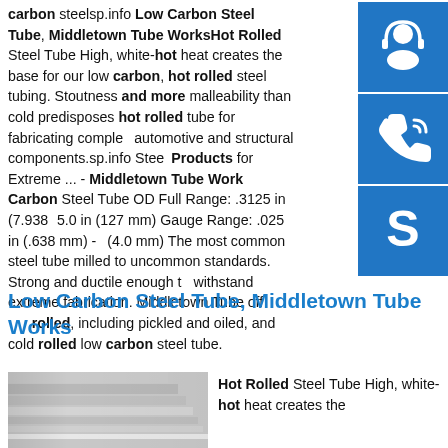carbon steelsp.info Low Carbon Steel Tube, Middletown Tube WorksHot Rolled Steel Tube High, white-hot heat creates the base for our low carbon, hot rolled steel tubing. Stoutness and more malleability than cold predisposes hot rolled tube for fabricating complex automotive and structural components.sp.info Steel Products for Extreme ... - Middletown Tube Works Carbon Steel Tube OD Full Range: .3125 in (7.938 in) 5.0 in (127 mm) Gauge Range: .025 in (.638 mm) - (4.0 mm) The most common steel tube milled to uncommon standards. Strong and ductile enough to withstand extreme fabrication. Middletown Tube offers hot rolled, including pickled and oiled, and cold rolled low carbon steel tube.
[Figure (illustration): Blue square icon with white customer service/headset person silhouette]
[Figure (illustration): Blue square icon with white phone/call silhouette]
[Figure (illustration): Blue square icon with white Skype logo 'S']
Low Carbon Steel Tube, Middletown Tube Works
[Figure (photo): Stack of flat steel sheets/plates photographed at an angle]
Hot Rolled Steel Tube High, white-hot heat creates the